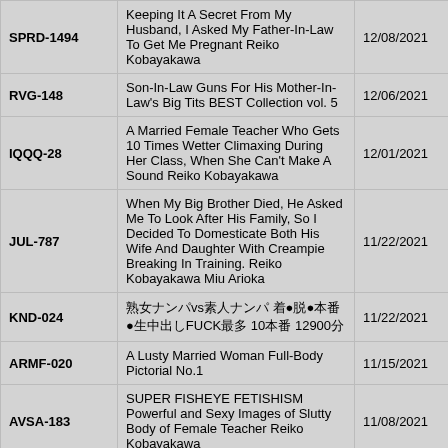| Code | Title | Date |
| --- | --- | --- |
| SPRD-1494 | Keeping It A Secret From My Husband, I Asked My Father-In-Law To Get Me Pregnant Reiko Kobayakawa | 12/08/2021 |
| RVG-148 | Son-In-Law Guns For His Mother-In-Law's Big Tits BEST Collection vol. 5 | 12/06/2021 |
| IQQQ-28 | A Married Female Teacher Who Gets 10 Times Wetter Climaxing During Her Class, When She Can't Make A Sound Reiko Kobayakawa | 12/01/2021 |
| JUL-787 | When My Big Brother Died, He Asked Me To Look After His Family, So I Decided To Domesticate Both His Wife And Daughter With Creampie Breaking In Training. Reiko Kobayakawa Miu Arioka | 11/22/2021 |
| KND-024 | 熟女ナンパvs素人ナンパ 着●脱●本番●生中出しFUCK最多 10本番 12900分 | 11/22/2021 |
| ARMF-020 | A Lusty Married Woman Full-Body Pictorial No.1 | 11/15/2021 |
| AVSA-183 | SUPER FISHEYE FETISHISM Powerful and Sexy Images of Slutty Body of Female Teacher Reiko Kobayakawa | 11/08/2021 |
| NBES-041 | A Horny Wife's Highlights: 960 Minutes, All 9 Titles Bundled Together! 4-disk Set, 16 Hours | 11/08/2021 |